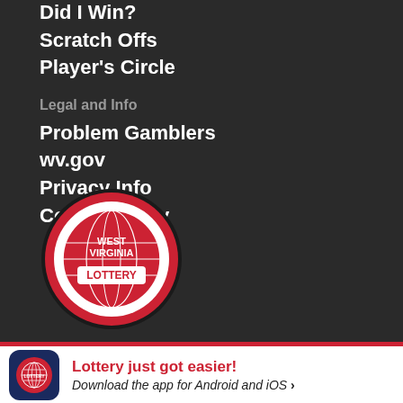Did I Win?
Scratch Offs
Player's Circle
Legal and Info
Problem Gamblers
wv.gov
Privacy Info
Cookie Policy
[Figure (logo): West Virginia Lottery circular logo — red circle with white ring, featuring 'WEST VIRGINIA LOTTERY' text and a globe graphic in white on red background]
Lottery just got easier! Download the app for Android and iOS >